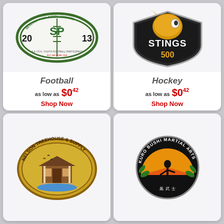[Figure (illustration): Football patch: Severna Park Green Hornets 2013 oval football patch with SP logo, AAYFA Youth Football Participant text]
Football
as low as $0.42
Shop Now
[Figure (illustration): Hockey patch: Stings 500 with golden hornet/bee mascot logo on dark shield background]
Hockey
as low as $0.42
Shop Now
[Figure (illustration): Nelson Treehouse & Supply oval patch with building illustration and yellow border]
[Figure (illustration): Kuro Bushi Martial Arts circular patch with black background and martial arts imagery]